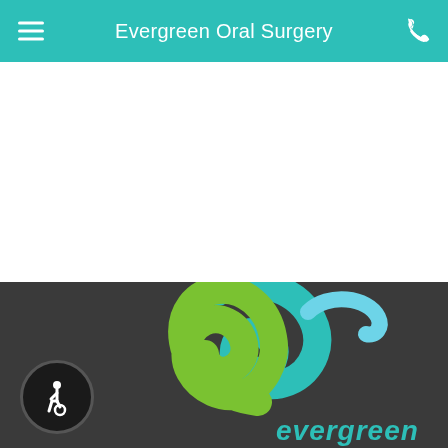Evergreen Oral Surgery
[Figure (logo): Evergreen Oral Surgery logo — a stylized green and teal spiral wave design with teal text reading 'evergreen' below, on a dark grey background. An accessibility icon (wheelchair symbol in a black circle) is visible in the lower left.]